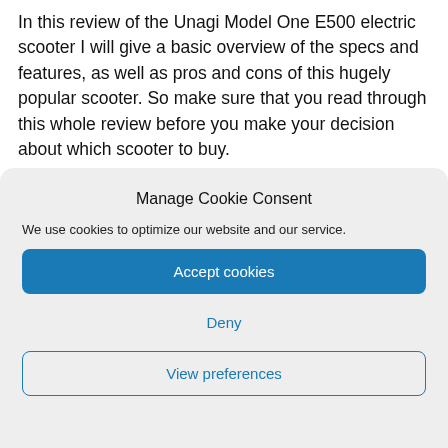In this review of the Unagi Model One E500 electric scooter I will give a basic overview of the specs and features, as well as pros and cons of this hugely popular scooter. So make sure that you read through this whole review before you make your decision about which scooter to buy.
Manage Cookie Consent
We use cookies to optimize our website and our service.
Accept cookies
Deny
View preferences